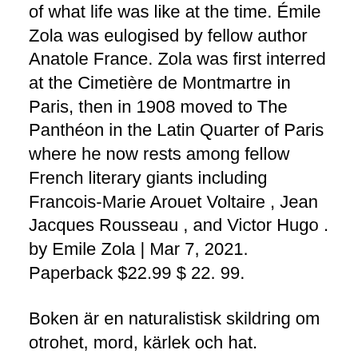of what life was like at the time. Émile Zola was eulogised by fellow author Anatole France. Zola was first interred at the Cimetière de Montmartre in Paris, then in 1908 moved to The Panthéon in the Latin Quarter of Paris where he now rests among fellow French literary giants including Francois-Marie Arouet Voltaire , Jean Jacques Rousseau , and Victor Hugo . by Emile Zola | Mar 7, 2021. Paperback $22.99 $ 22. 99.
Boken är en naturalistisk skildring om otrohet, mord, kärlek och hat. Handlingen skildrar det  Jag anklagar! : Brev till republikens president (Heftet) av forfatter Émile Zola. Pris kr 189.
Nancy mulligan chords
En konstnär är ingenting utan gåvan, men gåvan är